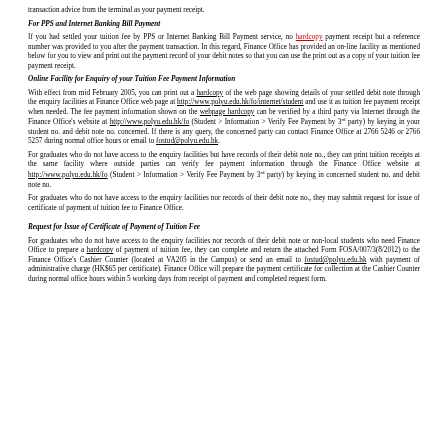transaction advice from the terminal as your payment receipt.
For PPS and Internet Banking Bill Payment
If you had settled your tuition fee by PPS or Internet Banking Bill Payment service, no hardcopy payment receipt but a reference number was provided to you after the payment transaction. In this regard, Finance Office has provided an on-line facility as mentioned below for you to view and print out the payment record of your debit notes so that you can use the print out as a copy of your tuition fee payment receipt.
Online Facility for Enquiry of your Tuition Fee Payment Information
With effect from mid February 2005, you can print out a hardcopy of the web page showing details of your settled debit note through the enquiry facilities at Finance Office web page at http://www.polyu.edu.hk/fo/internet/student and use it as tuition fee payment receipt when needed. The fee payment information shown on the webpage hardcopy can be verified by a third party via Internet through the Finance Office's website at http://www.polyu.edu.hk/fo (Student > Information > Verify Fee Payment by 3rd party) by keying in your student no. and debit note no. concerned. If there is any query, the concerned party can contact Finance Office at 2766 5246 or 2766 5257 during normal office hours or email to fostud@polyu.edu.hk.
For graduates who do not have access to the enquiry facilities but have records of their debit note no., they can print tuition receipts at the same facility where outside parties can verify fee payment information through the Finance Office website at http://www.polyu.edu.hk/fo (Student > Information > Verify Fee Payment by 3rd party) by keying in concerned student no. and debit note no.
For graduates who do not have access to the enquiry facilities nor records of their debit note no., they may submit request for issue of certificate of payment of tuition fee to Finance Office.
Request for Issue of Certificate of Payment of Tuition Fee
For graduates who do not have access to the enquiry facilities nor records of their debit note or non-local students who need Finance Office to prepare a hardcopy of payment of tuition fee, they can complete and return the attached Form FOSA/007/3(8/2012) to the Finance Office's Cashier Counter (located at VA205 in the Campus) or send an email to fostud@polyu.edu.hk with payment of administrative charge (HK$65 per certificate). Finance Office will prepare the payment certificate for collection at the Cashier Counter during normal office hours within 5 working days from receipt of payment and completed request form.